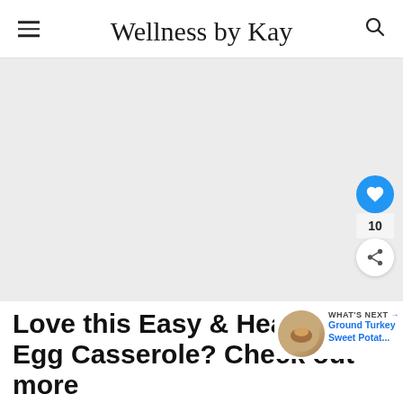Wellness by Kay
[Figure (photo): Large rectangular image area (placeholder/grey), with social interaction buttons on the right side: a blue heart button, a count of 10, and a share button.]
Love this Easy & Healthy Egg Casserole? Check out more
[Figure (infographic): WHAT'S NEXT badge with a circular food thumbnail and text: Ground Turkey Sweet Potat...]
SHE CAN STEM